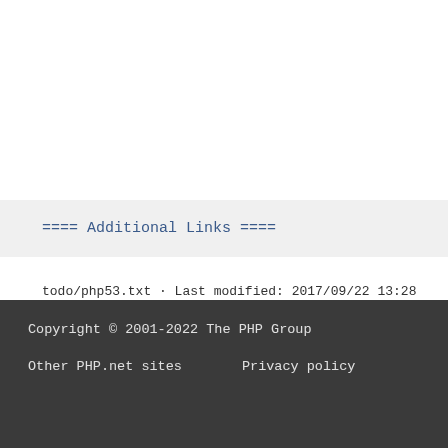==== Additional Links ====
todo/php53.txt · Last modified: 2017/09/22 13:28 (external edit)
Copyright © 2001-2022 The PHP Group
Other PHP.net sites    Privacy policy